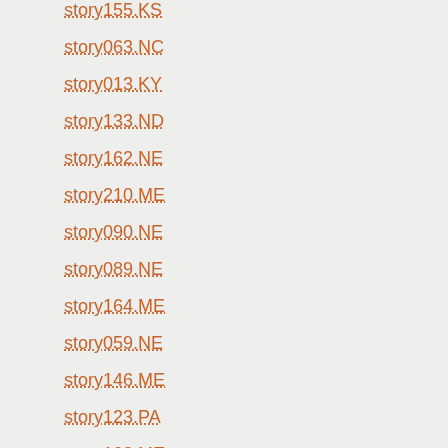story155.KS
story063.NC
story013.KY
story133.ND
story162.NE
story210.ME
story090.NE
story089.NE
story164.ME
story059.NE
story146.ME
story123.PA
story102.ME
story122.PA
story093.PA